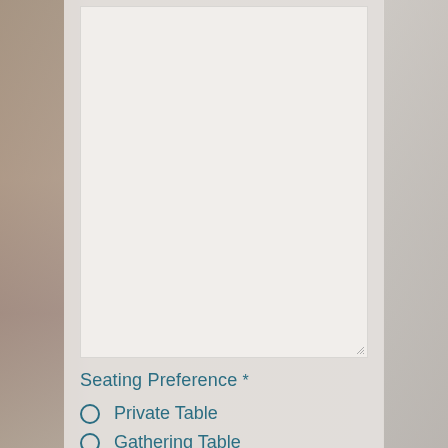[Figure (screenshot): Blurred restaurant/cafe background with a semi-transparent overlay panel. A large text area input box is visible in the upper portion. Below it is a form section with a 'Seating Preference' label (required field) and two radio button options: 'Private Table' and 'Gathering Table' (partially visible).]
Seating Preference *
Private Table
Gathering Table